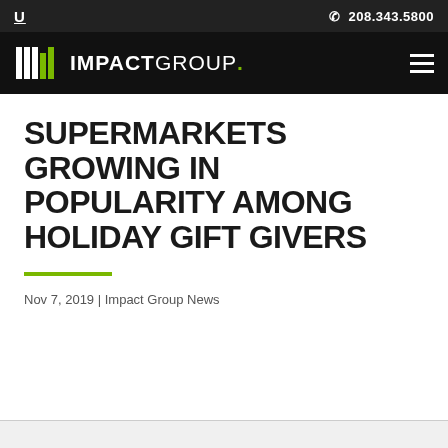U   208.343.5800
[Figure (logo): Impact Group logo with barcode-style vertical bars and text 'IMPACTGROUP.' on black nav bar background with hamburger menu icon]
SUPERMARKETS GROWING IN POPULARITY AMONG HOLIDAY GIFT GIVERS
Nov 7, 2019 | Impact Group News